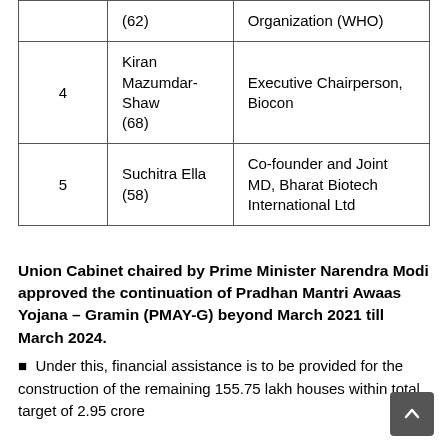| # | Name (Age) | Designation |
| --- | --- | --- |
|  | (62) | Organization (WHO) |
| 4 | Kiran Mazumdar-Shaw
(68) | Executive Chairperson, Biocon |
| 5 | Suchitra Ella (58) | Co-founder and Joint MD, Bharat Biotech International Ltd |
Union Cabinet chaired by Prime Minister Narendra Modi approved the continuation of Pradhan Mantri Awaas Yojana – Gramin (PMAY-G) beyond March 2021 till March 2024.
Under this, financial assistance is to be provided for the construction of the remaining 155.75 lakh houses within total target of 2.95 crore